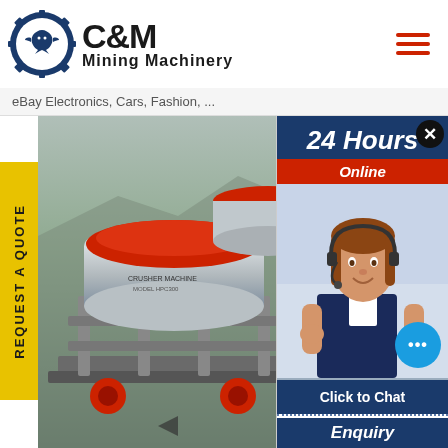[Figure (logo): C&M Mining Machinery logo with eagle in gear circle and company name]
eBay Electronics, Cars, Fashion, ...
[Figure (photo): Cone crusher / mining machinery equipment photo in outdoor quarry setting]
REQUEST A QUOTE
[Figure (infographic): 24 Hours Online chat overlay with customer service agent photo, chat bubble icon, Click to Chat button, and Enquiry section]